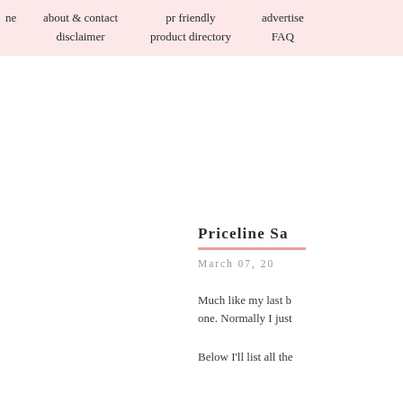ne | about & contact | disclaimer | pr friendly | product directory | advertise | FAQ
Priceline Sa
March 07, 20
Much like my last b one. Normally I just
Below I'll list all the